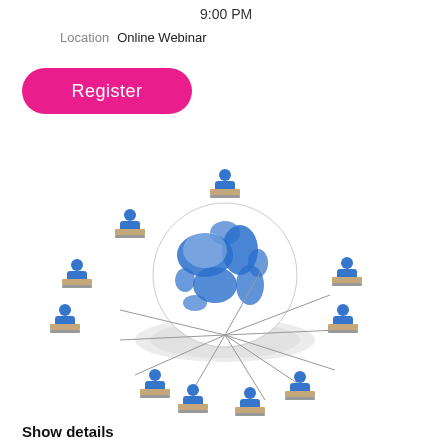9:00 PM
Location   Online Webinar
Register
[Figure (illustration): 3D illustration of multiple blue human figures sitting at desks with laptops arranged in a circle around a globe, representing an online webinar or e-learning network]
Show details